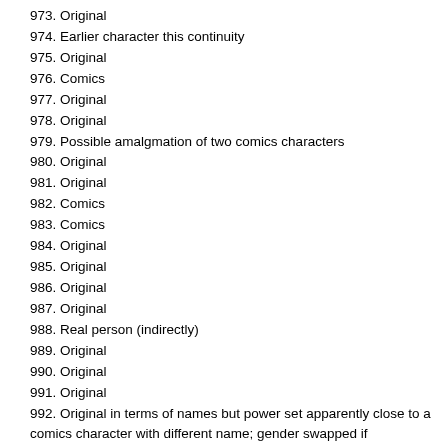973. Original
974. Earlier character this continuity
975. Original
976. Comics
977. Original
978. Original
979. Possible amalgmation of two comics characters
980. Original
981. Original
982. Comics
983. Comics
984. Original
985. Original
986. Original
987. Original
988. Real person (indirectly)
989. Original
990. Original
991. Original
992. Original in terms of names but power set apparently close to a comics character with different name; gender swapped if counterpart
993. Comics
994. Original
995. Comics
996. Original
997. Original
998. Original, though aludes to being part of a comics character's legacy
999. Original
1000. Original
1001. Possible counterpart of comics character with different name